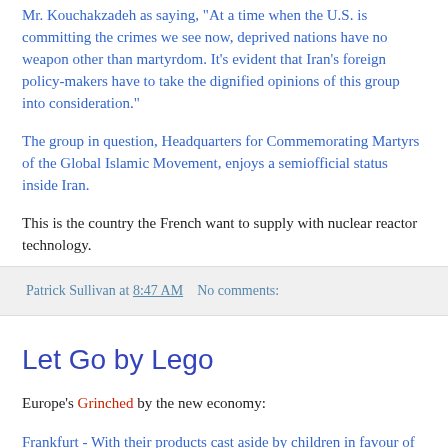Mr. Kouchakzadeh as saying, "At a time when the U.S. is committing the crimes we see now, deprived nations have no weapon other than martyrdom. It's evident that Iran's foreign policy-makers have to take the dignified opinions of this group into consideration."
The group in question, Headquarters for Commemorating Martyrs of the Global Islamic Movement, enjoys a semiofficial status inside Iran.
This is the country the French want to supply with nuclear reactor technology.
Patrick Sullivan at 8:47 AM    No comments:
Let Go by Lego
Europe's Grinched by the new economy:
Frankfurt - With their products cast aside by children in favour of video games or television, the makers of traditional toys are facing a miserable Christmas.